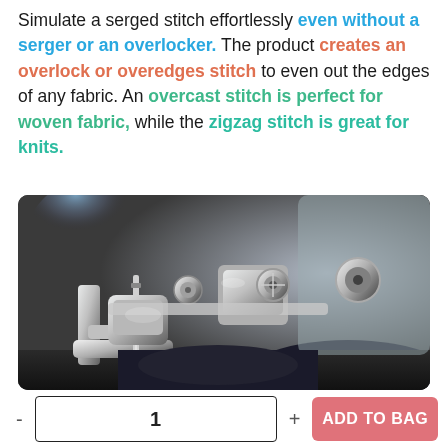Simulate a serged stitch effortlessly even without a serger or an overlocker. The product creates an overlock or overedges stitch to even out the edges of any fabric. An overcast stitch is perfect for woven fabric, while the zigzag stitch is great for knits.
[Figure (photo): Close-up photo of a sewing machine's overlock/serger foot mechanism with metallic parts and dark fabric being sewn, with a blurred blue light in the upper left.]
- 1 + ADD TO BAG